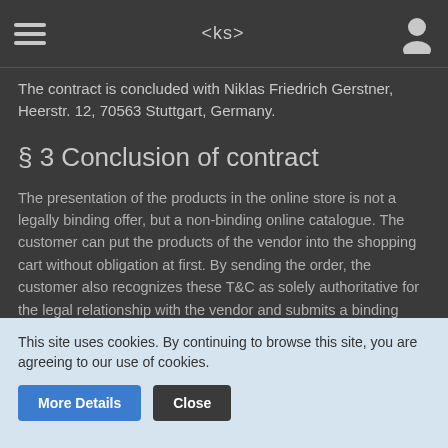<ks>
The contract is concluded with Niklas Friedrich Gerstner, Heerstr. 12, 70563 Stuttgart, Germany.
§ 3 Conclusion of contract
The presentation of the products in the online store is not a legally binding offer, but a non-binding online catalogue. The customer can put the products of the vendor into the shopping cart without obligation at first. By sending the order, the customer also recognizes these T&C as solely authoritative for the legal relationship with the vendor and submits a binding order for the products contained in the shopping cart.
The confirmation of receipt of the customer's order is sent by email
This site uses cookies. By continuing to browse this site, you are agreeing to our use of cookies.